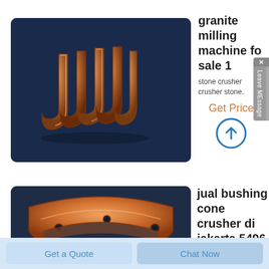[Figure (photo): Bronze/copper bushing machine parts on dark blue background]
granite milling machine fo sale 1
stone crusher crusher stone.
Get Price
[Figure (photo): Orange/copper curved bushing cone crusher part on dark blue background]
jual bushing cone crusher di jakarta 5496
skd jaw crusher di
Get a Quote
Chat Now